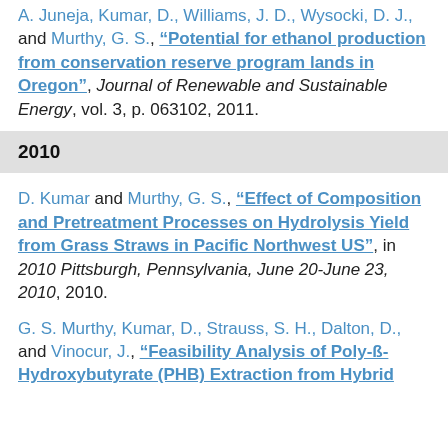A. Juneja, Kumar, D., Williams, J. D., Wysocki, D. J., and Murthy, G. S., "Potential for ethanol production from conservation reserve program lands in Oregon", Journal of Renewable and Sustainable Energy, vol. 3, p. 063102, 2011.
2010
D. Kumar and Murthy, G. S., "Effect of Composition and Pretreatment Processes on Hydrolysis Yield from Grass Straws in Pacific Northwest US", in 2010 Pittsburgh, Pennsylvania, June 20-June 23, 2010, 2010.
G. S. Murthy, Kumar, D., Strauss, S. H., Dalton, D., and Vinocur, J., "Feasibility Analysis of Poly-ß-Hydroxybutyrate (PHB) Extraction from Hybrid...